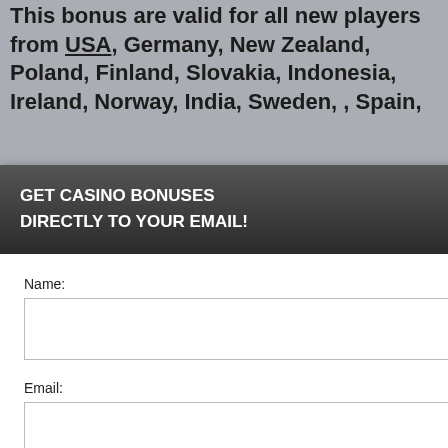This bonus are valid for all new players from USA, Germany, New Zealand, Poland, Finland, Slovakia, Indonesia, Ireland, Norway, India, Sweden, , Spain, ...
...wed to participate if you are at least ...determined by the laws of the country ...s apply. Play responsibly. 18+
NS NO DEPOSIT
...perience, we use ...Using this site, ...kie & privacy policy.
GET CASINO BONUSES
DIRECTLY TO YOUR EMAIL!
Name:
Email:
Submit
By subscribing you are certifying that you have reviewed and accepted our updated Privacy and Cookie policy.